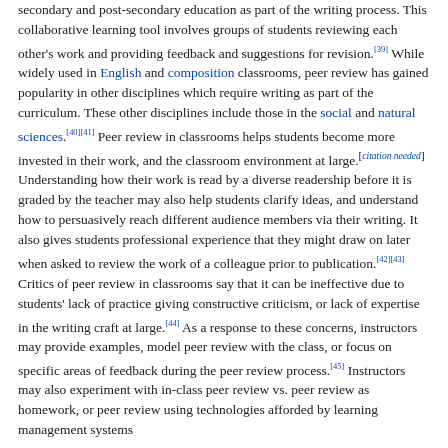secondary and post-secondary education as part of the writing process. This collaborative learning tool involves groups of students reviewing each other's work and providing feedback and suggestions for revision.[39] While widely used in English and composition classrooms, peer review has gained popularity in other disciplines which require writing as part of the curriculum. These other disciplines include those in the social and natural sciences.[40][41] Peer review in classrooms helps students become more invested in their work, and the classroom environment at large.[citation needed] Understanding how their work is read by a diverse readership before it is graded by the teacher may also help students clarify ideas, and understand how to persuasively reach different audience members via their writing. It also gives students professional experience that they might draw on later when asked to review the work of a colleague prior to publication.[42][43]

Critics of peer review in classrooms say that it can be ineffective due to students' lack of practice giving constructive criticism, or lack of expertise in the writing craft at large.[44] As a response to these concerns, instructors may provide examples, model peer review with the class, or focus on specific areas of feedback during the peer review process.[45] Instructors may also experiment with in-class peer review vs. peer review as homework, or peer review using technologies afforded by learning management systems